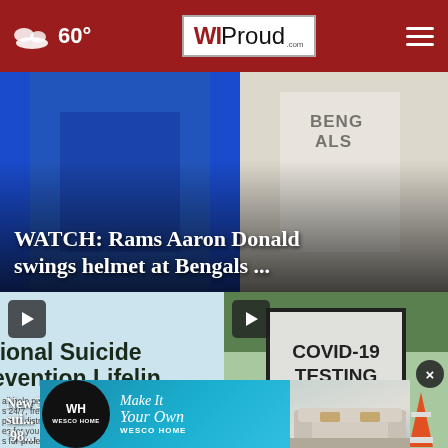60° — WIProud.com
[Figure (photo): Football players in blue Rams jersey and white Bengals jersey during NFL game]
WATCH: Rams Aaron Donald swings helmet at Bengals ...
[Figure (photo): National Suicide Prevention Lifeline sign with body text about 24/7 free and confidential support]
New 3-digit sui... '98...
[Figure (photo): COVID-19 TESTING sign with arrow pointing up, orange traffic cones in background]
Milwauke...
[Figure (photo): Wesco Home advertisement - Make It Your Own - showing furniture]